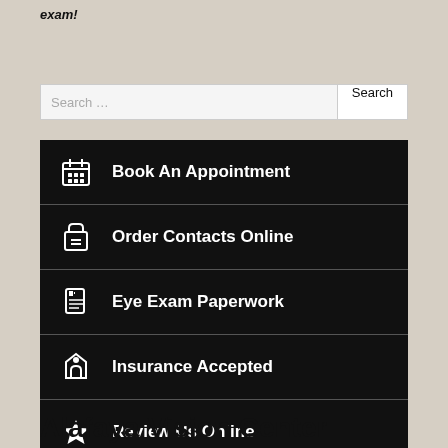exam!
Book An Appointment
Order Contacts Online
Eye Exam Paperwork
Insurance Accepted
Review Us Online
Alafaya Vision Center